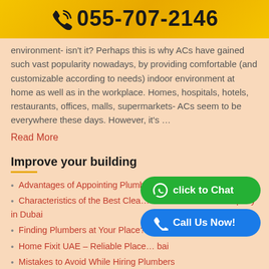📞 055-707-2146
environment- isn't it? Perhaps this is why ACs have gained such vast popularity nowadays, by providing comfortable (and customizable according to needs) indoor environment at home as well as in the workplace. Homes, hospitals, hotels, restaurants, offices, malls, supermarkets- ACs seem to be everywhere these days. However, it's …
Read More
Improve your building
Advantages of Appointing Plumb…
Characteristics of the Best Clea… …pany in Dubai
Finding Plumbers at Your Place? T…
Home Fixit UAE – Reliable Place… …bai
Mistakes to Avoid While Hiring Plumbers